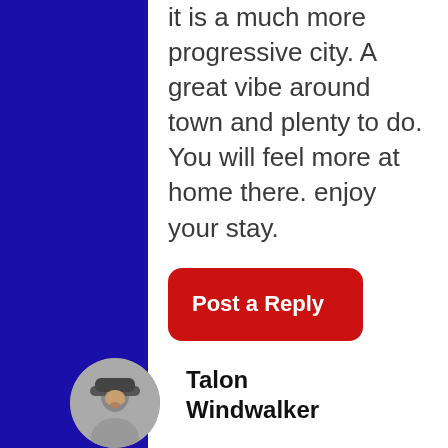it is a much more progressive city. A great vibe around town and plenty to do. You will feel more at home there. enjoy your stay.
[Figure (other): Red rounded rectangle button with white bold text reading 'Post a Reply']
[Figure (photo): Circular avatar photo of Talon Windwalker, a person wearing a cap]
Talon Windwalker